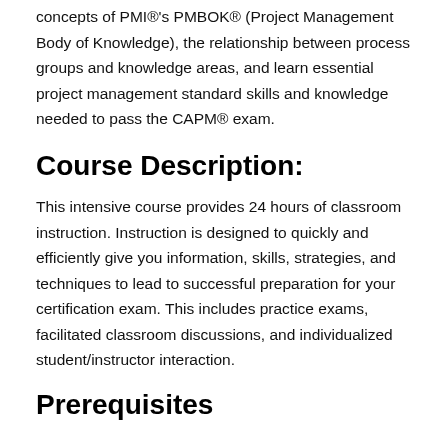concepts of PMI®'s PMBOK® (Project Management Body of Knowledge), the relationship between process groups and knowledge areas, and learn essential project management standard skills and knowledge needed to pass the CAPM® exam.
Course Description:
This intensive course provides 24 hours of classroom instruction. Instruction is designed to quickly and efficiently give you information, skills, strategies, and techniques to lead to successful preparation for your certification exam. This includes practice exams, facilitated classroom discussions, and individualized student/instructor interaction.
Prerequisites
...